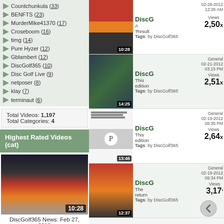Countchunkula (33)
BENFTS (23)
MurderMike41370 (17)
Croseboom (16)
timg (14)
Pure Hyzer (12)
Gblambert (12)
DiscGolf365 (10)
Disc Golf Live (9)
netposer (8)
klay (7)
terminaut (6)
Total Videos: 1,197
Total Categories: 4
Highest Rated Videos (cat)
[Figure (screenshot): Video thumbnail for DiscGolf365 News: Feb 27, 2012 showing duration 10:28]
DiscGolf365 News: Feb 27, 2012
| Thumbnail | Channel | Category | Date | Views |
| --- | --- | --- | --- | --- |
| 10:28 | DiscG | A 'Result Tags: by DiscGolf365 | 02-28-2012 12:26 AM | 2,50x |
| 14:25 | DiscG | This edition Tags: by DiscGolf365 | General 02-21-2012 03:15 PM | 2,51x |
| 13:46 | DiscG | This edition Tags: by DiscGolf365 | General 02-19-2012 09:35 PM | 2,64x |
| 12:37 | DiscG | The return Tags: by DiscGolf365 | General 02-19-2012 09:34 PM | 3,17x |